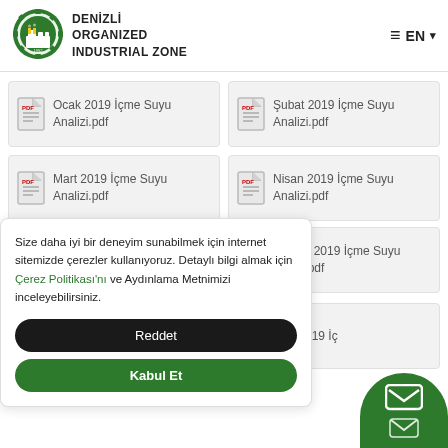[Figure (logo): Denizli Organized Industrial Zone circular green logo with factory icon]
DENİZLİ ORGANIZED INDUSTRIAL ZONE
≡ EN ▾
Ocak 2019 İçme Suyu Analizi.pdf
Şubat 2019 İçme Suyu Analizi.pdf
Mart 2019 İçme Suyu Analizi.pdf
Nisan 2019 İçme Suyu Analizi.pdf
Size daha iyi bir deneyim sunabilmek için internet sitemizde çerezler kullanıyoruz. Detaylı bilgi almak için Çerez Politikası'nı ve Aydınlama Metnimizi inceleyebilirsiniz.
Reddet
Kabul Et
Haziran 2019 İçme Suyu Analizi.pdf
Eylül 2019 İç...